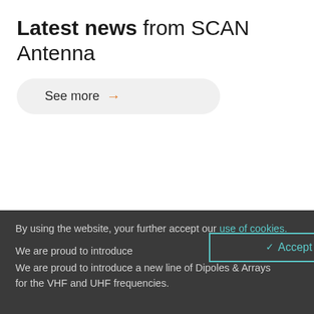Latest news from SCAN Antenna
See more →
By using the website, your further accept our use of cookies.
✓ Accept
We are proud to introduce a new line of Dipoles & Arrays for the VHF and UHF frequencies.